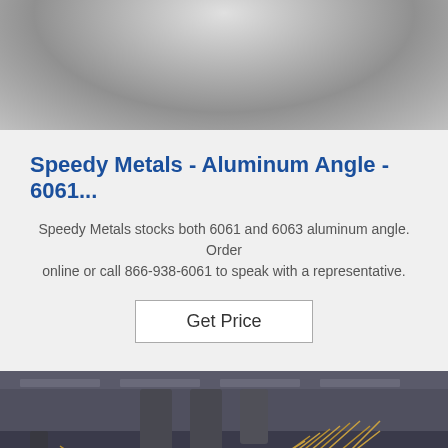[Figure (photo): Close-up photo of metallic/aluminum surface, showing a rounded metal object from above, silver tones.]
Speedy Metals - Aluminum Angle - 6061...
Speedy Metals stocks both 6061 and 6063 aluminum angle. Order online or call 866-938-6061 to speak with a representative.
Get Price
[Figure (photo): Industrial factory interior photo showing large machinery with metal rods/wires fanning out, overhead pipes, and a 'TOP' watermark logo in blue in the lower right.]